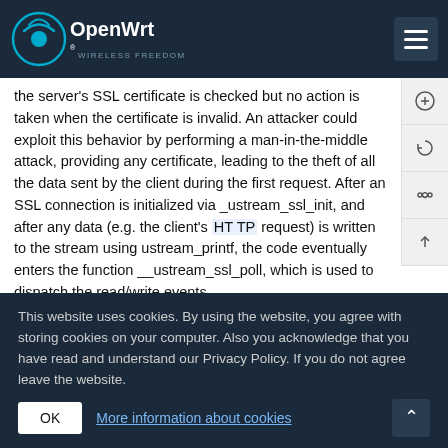OpenWrt
the server's SSL certificate is checked but no action is taken when the certificate is invalid. An attacker could exploit this behavior by performing a man-in-the-middle attack, providing any certificate, leading to the theft of all the data sent by the client during the first request. After an SSL connection is initialized via _ustream_ssl_init, and after any data (e.g. the client's HTTP request) is written to the stream using ustream_printf, the code eventually enters the function __ustream_ssl_poll, which is used to dispatch the read/write events
Link : https://cve.mitre.org/cgi-bin/cvename.cgi?name=CVE-2019-5101
Commits:
58db9be ustream-ssl: update to latest Git HEAD
This website uses cookies. By using the website, you agree with storing cookies on your computer. Also you acknowledge that you have read and understand our Privacy Policy. If you do not agree leave the website.